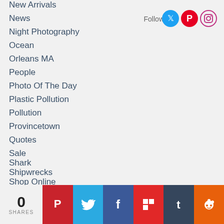New Arrivals
News
Night Photography
Ocean
Orleans MA
People
Photo Of The Day
Plastic Pollution
Pollution
Provincetown
Quotes
Sale
Shark
Shipwrecks
Shop Online
Snow
Spring
Storm
Summer Clothes
Sunrises
Follow
0 SHARES | Pinterest | Twitter | Facebook | Flipboard | Tumblr | Reddit